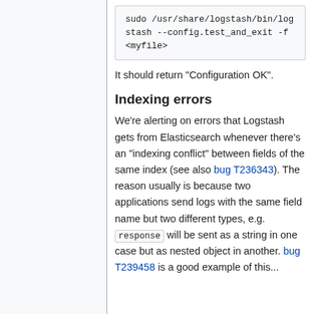It should return "Configuration OK".
Indexing errors
We're alerting on errors that Logstash gets from Elasticsearch whenever there's an "indexing conflict" between fields of the same index (see also bug T236343). The reason usually is because two applications send logs with the same field name but two different types, e.g. response will be sent as a string in one case but as nested object in another. bug T239458 is a good example of this...